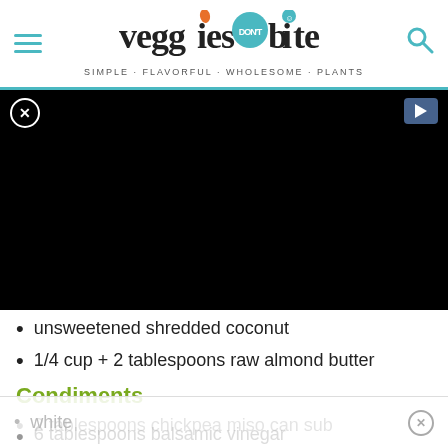[Figure (logo): Veggies Don't Bite logo with hamburger menu and search icon. Tagline: SIMPLE · FLAVORFUL · WHOLESOME · PLANTS]
[Figure (screenshot): Black video/ad player area with close (X) button top-left and play button top-right]
unsweetened shredded coconut
1/4 cup + 2 tablespoons raw almond butter
Condiments
2 tablespoons chickpea miso can sub
white
6 tablespoons balsamic vinegar